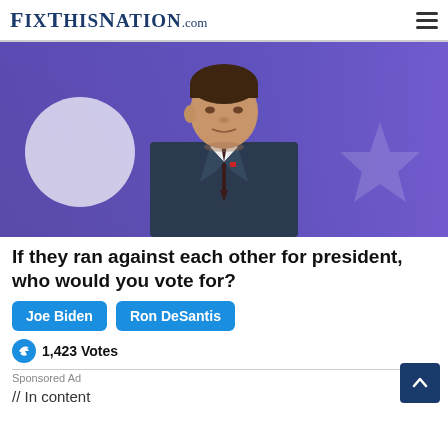FixThisNation.com
[Figure (photo): Man in dark suit and dark tie speaking at an event, with a blue and purple blurred background with a star shape visible]
If they ran against each other for president, who would you vote for?
Joe Biden
Ron DeSantis
1,423 Votes
Sponsored Ad
// In content